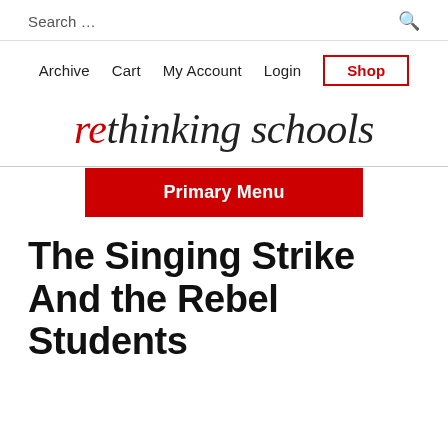Search ...
Archive  Cart  My Account  Login  Shop
rethinking schools
Primary Menu
The Singing Strike And the Rebel Students